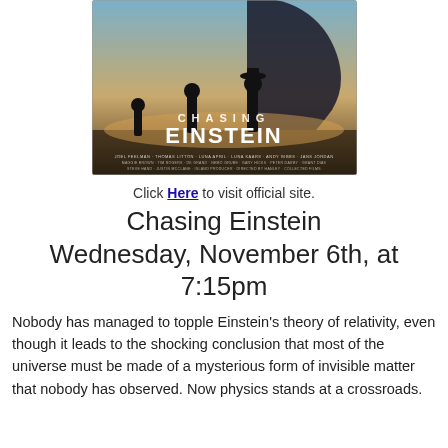[Figure (photo): Movie poster for 'Chasing Einstein' showing silhouettes of three people against a dramatic sky, with the title text 'CHASING EINSTEIN' displayed prominently]
Click Here to visit official site.
Chasing Einstein Wednesday, November 6th, at 7:15pm
Nobody has managed to topple Einstein's theory of relativity, even though it leads to the shocking conclusion that most of the universe must be made of a mysterious form of invisible matter that nobody has observed. Now physics stands at a crossroads. Some of the sharpest minds are determined to...